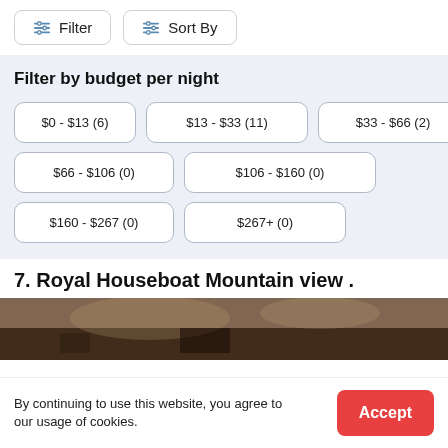[Figure (screenshot): Filter and Sort By buttons at the top of a travel/accommodation search page]
Filter by budget per night
$0 - $13 (6)
$13 - $33 (11)
$33 - $66 (2)
$66 - $106 (0)
$106 - $160 (0)
$160 - $267 (0)
$267+ (0)
7. Royal Houseboat Mountain view .
[Figure (photo): Partial photo of houseboat/wooden interior, dark lighting]
By continuing to use this website, you agree to our usage of cookies.